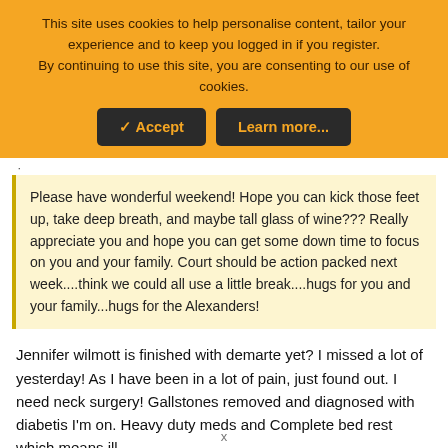This site uses cookies to help personalise content, tailor your experience and to keep you logged in if you register. By continuing to use this site, you are consenting to our use of cookies.
✓ Accept | Learn more...
Please have wonderful weekend! Hope you can kick those feet up, take deep breath, and maybe tall glass of wine??? Really appreciate you and hope you can get some down time to focus on you and your family. Court should be action packed next week....think we could all use a little break....hugs for you and your family...hugs for the Alexanders!
Jennifer wilmott is finished with demarte yet? I missed a lot of yesterday! As I have been in a lot of pain, just found out. I need neck surgery! Gallstones removed and diagnosed with diabetis I'm on. Heavy duty meds and Complete bed rest which means ill
x